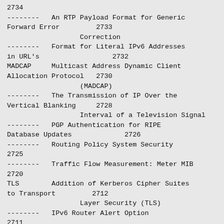2734
--------   An RTP Payload Format for Generic Forward Error           2733
                   Correction
--------   Format for Literal IPv6 Addresses in URL's                2732
MADCAP     Multicast Address Dynamic Client Allocation Protocol   2730
                   (MADCAP)
--------   The Transmission of IP Over the Vertical Blanking       2728
                   Interval of a Television Signal
--------   PGP Authentication for RIPE Database Updates           2726
--------   Routing Policy System Security 2725
--------   Traffic Flow Measurement: Meter MIB 2720
TLS        Addition of Kerberos Cipher Suites to Transport        2712
                   Layer Security (TLS)
--------   IPv6 Router Alert Option 2711